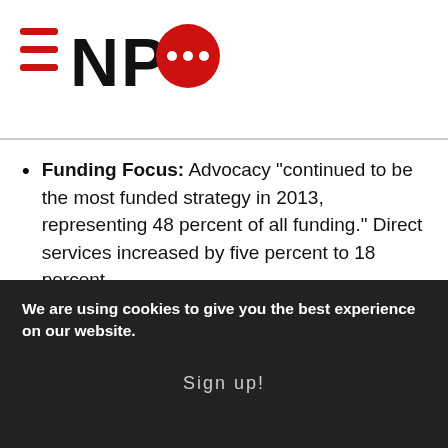[Figure (logo): NPQ logo with three horizontal red lines on left and red speech bubble with three dots]
Funding Focus: Advocacy “continued to be the most funded strategy in 2013, representing 48 percent of all funding.” Direct services increased by five percent to 18 percent.
The top funder of LGBTQ causes was the Arcus Foundation at $16.8 million, while the organization Freedom to Marry was the largest funder (without re-granting) at $3.6 million. The top 20 funders of LGBTQ organizations and programs funded 78 percent of all LGBTQ funding, with 331 foundations and
We are using cookies to give you the best experience on our website.
Sign up!